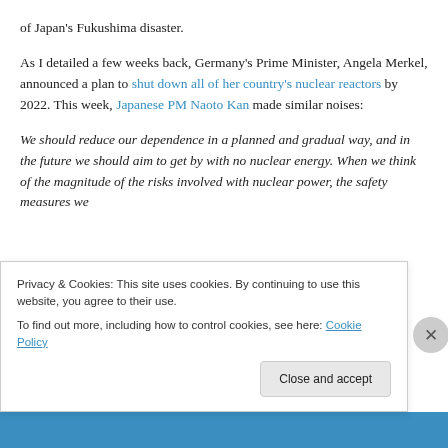of Japan's Fukushima disaster.
As I detailed a few weeks back, Germany's Prime Minister, Angela Merkel, announced a plan to shut down all of her country's nuclear reactors by 2022. This week, Japanese PM Naoto Kan made similar noises:
We should reduce our dependence in a planned and gradual way, and in the future we should aim to get by with no nuclear energy. When we think of the magnitude of the risks involved with nuclear power, the safety measures we previously conceived are inadequate.
Privacy & Cookies: This site uses cookies. By continuing to use this website, you agree to their use.
To find out more, including how to control cookies, see here: Cookie Policy